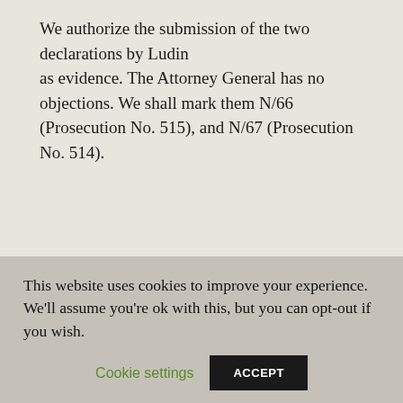We authorize the submission of the two declarations by Ludin as evidence. The Attorney General has no objections. We shall mark them N/66 (Prosecution No. 515), and N/67 (Prosecution No. 514).
Last-Modified: 1999/06/09
[Figure (infographic): B'nai Brith Canada logo with menorah icon and text, alongside donation appeal: 'Your gift will combat hatred and antisemitism. Donate today!']
[Figure (screenshot): Row of social media sharing buttons: Facebook, Twitter, and a third button, partially visible]
This website uses cookies to improve your experience. We'll assume you're ok with this, but you can opt-out if you wish.
Cookie settings   ACCEPT